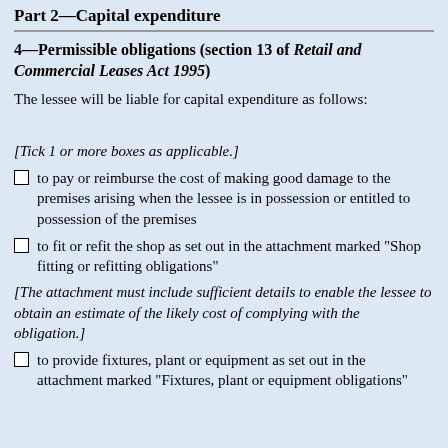Part 2—Capital expenditure
4—Permissible obligations (section 13 of Retail and Commercial Leases Act 1995)
The lessee will be liable for capital expenditure as follows:
[Tick 1 or more boxes as applicable.]
to pay or reimburse the cost of making good damage to the premises arising when the lessee is in possession or entitled to possession of the premises
to fit or refit the shop as set out in the attachment marked "Shop fitting or refitting obligations"
[The attachment must include sufficient details to enable the lessee to obtain an estimate of the likely cost of complying with the obligation.]
to provide fixtures, plant or equipment as set out in the attachment marked "Fixtures, plant or equipment obligations"